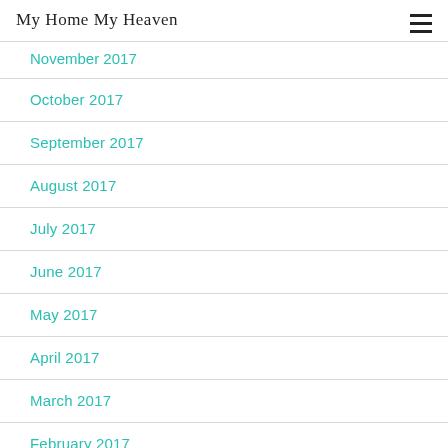My Home My Heaven
November 2017
October 2017
September 2017
August 2017
July 2017
June 2017
May 2017
April 2017
March 2017
February 2017
January 2017